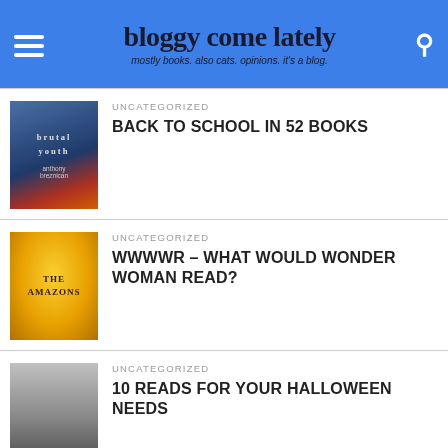bloggy come lately — mostly books. also cats. opinions. it's a blog.
UNCATEGORIZED
BACK TO SCHOOL IN 52 BOOKS
UNCATEGORIZED
WWWWR – WHAT WOULD WONDER WOMAN READ?
UNCATEGORIZED
10 READS FOR YOUR HALLOWEEN NEEDS
UNCATEGORIZED
ADVENTURES IN FOOD AND FUN CHAPTER ONE HUNDRED AND TWENTY: